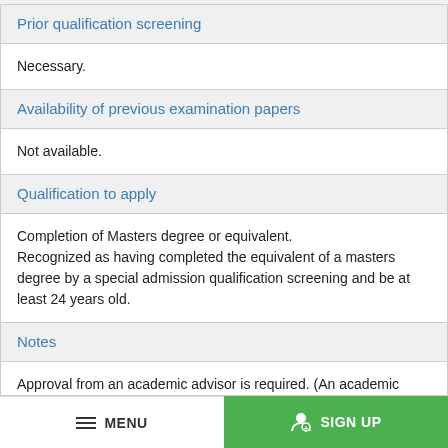Prior qualification screening
Necessary.
Availability of previous examination papers
Not available.
Qualification to apply
Completion of Masters degree or equivalent. Recognized as having completed the equivalent of a masters degree by a special admission qualification screening and be at least 24 years old.
Notes
Approval from an academic advisor is required. (An academic advisor will be introduced by the school.)
MENU   SIGN UP